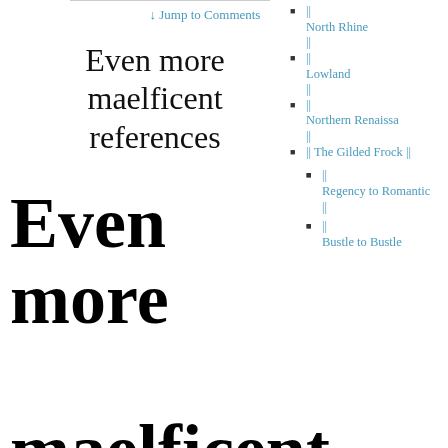↓ Jump to Comments
Even more maelficent references
Even more maelficent references
|| North Rhine ||
|| Lowland ||
|| Northern Renaissa ||
|| The Gilded Frock ||
|| Regency to Romantic ||
|| Bustle to Bustle